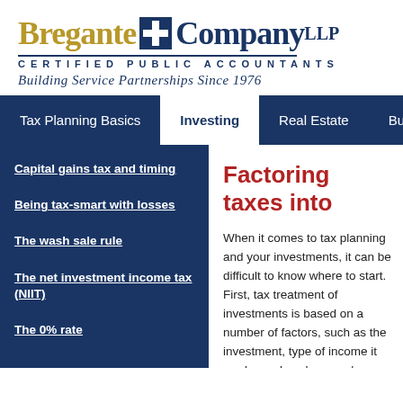[Figure (logo): Bregante + Company LLP Certified Public Accountants logo with gold and navy text, cross symbol, and tagline 'Building Service Partnerships Since 1976']
Tax Planning Basics | Investing | Real Estate | Business & Exec...
Capital gains tax and timing
Being tax-smart with losses
The wash sale rule
The net investment income tax (NIIT)
The 0% rate
Factoring taxes into
When it comes to tax planning and your investments, it can be difficult to know where to start. First, tax treatment of investments is based on a number of factors, such as the investment, type of income it produces, how long you've held it and whether any special rules or breaks apply. And you need to understand the potential tax consequences of buying, holding and selling a particular investment. Higher-income taxpayers also need to know about higher capital gains tax rates and the net investment income tax. The Tax Cuts and Jobs Act (TCJA)